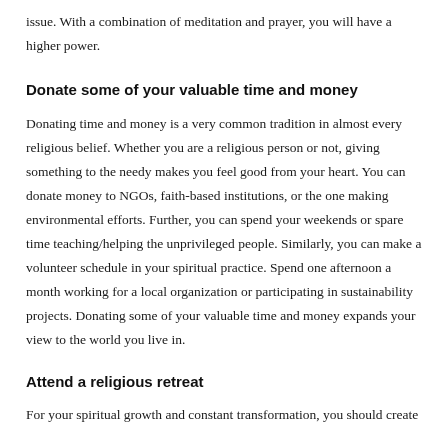issue. With a combination of meditation and prayer, you will have a higher power.
Donate some of your valuable time and money
Donating time and money is a very common tradition in almost every religious belief. Whether you are a religious person or not, giving something to the needy makes you feel good from your heart. You can donate money to NGOs, faith-based institutions, or the one making environmental efforts. Further, you can spend your weekends or spare time teaching/helping the unprivileged people. Similarly, you can make a volunteer schedule in your spiritual practice. Spend one afternoon a month working for a local organization or participating in sustainability projects. Donating some of your valuable time and money expands your view to the world you live in.
Attend a religious retreat
For your spiritual growth and constant transformation, you should create